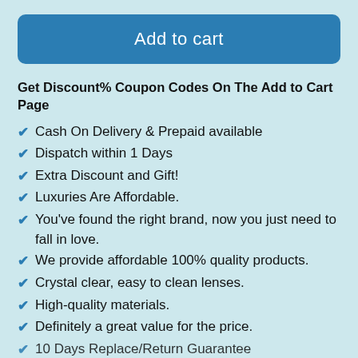[Figure (other): Blue 'Add to cart' button with rounded corners]
Get Discount% Coupon Codes On The Add to Cart Page
Cash On Delivery & Prepaid available
Dispatch within 1 Days
Extra Discount and Gift!
Luxuries Are Affordable.
You've found the right brand, now you just need to fall in love.
We provide affordable 100% quality products.
Crystal clear, easy to clean lenses.
High-quality materials.
Definitely a great value for the price.
10 Days Replace/Return Guarantee